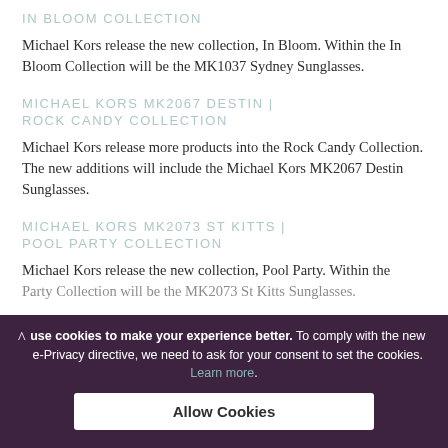IN BLOOM COLLECTION
Michael Kors release the new collection, In Bloom. Within the In Bloom Collection will be the MK1037 Sydney Sunglasses.
MICHAEL KORS MK2067 DESTIN | ROCK CANDY COLLECTION
Michael Kors release more products into the Rock Candy Collection. The new additions will include the Michael Kors MK2067 Destin Sunglasses.
MICHAEL KORS MK2073 ST KITTS | POOL PARTY COLLECTION
Michael Kors release the new collection, Pool Party. Within the Party Collection will be the MK2073 St Kitts Sunglasses.
use cookies to make your experience better. To comply with the new e-Privacy directive, we need to ask for your consent to set the cookies. Learn more.

Allow Cookies